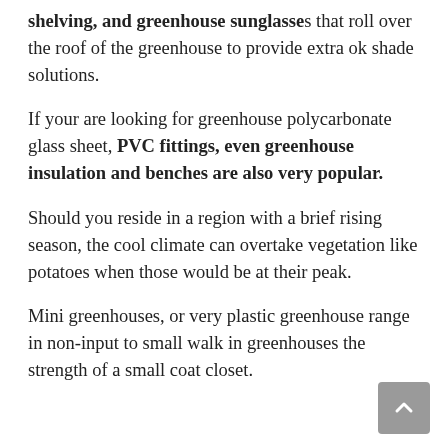shelving, and greenhouse sunglasses that roll over the roof of the greenhouse to provide extra ok shade solutions.
If your are looking for greenhouse polycarbonate glass sheet, PVC fittings, even greenhouse insulation and benches are also very popular.
Should you reside in a region with a brief rising season, the cool climate can overtake vegetation like potatoes when those would be at their peak.
Mini greenhouses, or very plastic greenhouse range in non-input to small walk in greenhouses the strength of a small coat closet.